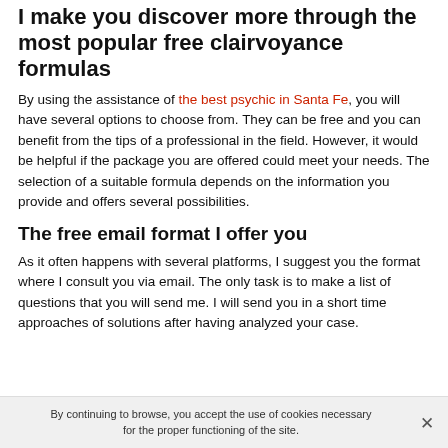I make you discover more through the most popular free clairvoyance formulas
By using the assistance of the best psychic in Santa Fe, you will have several options to choose from. They can be free and you can benefit from the tips of a professional in the field. However, it would be helpful if the package you are offered could meet your needs. The selection of a suitable formula depends on the information you provide and offers several possibilities.
The free email format I offer you
As it often happens with several platforms, I suggest you the format where I consult you via email. The only task is to make a list of questions that you will send me. I will send you in a short time approaches of solutions after having analyzed your case.
By continuing to browse, you accept the use of cookies necessary for the proper functioning of the site.